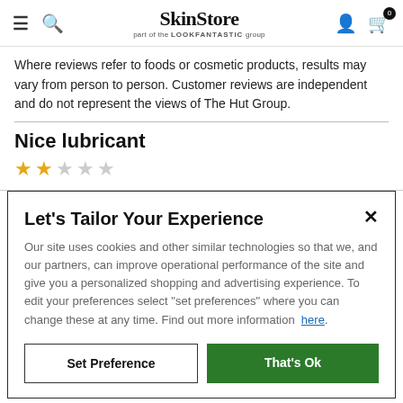SkinStore — part of the LOOKFANTASTIC group
Where reviews refer to foods or cosmetic products, results may vary from person to person. Customer reviews are independent and do not represent the views of The Hut Group.
Nice lubricant
[Figure (other): 2 out of 5 stars rating — two filled orange stars and three empty grey stars]
Let's Tailor Your Experience
Our site uses cookies and other similar technologies so that we, and our partners, can improve operational performance of the site and give you a personalized shopping and advertising experience. To edit your preferences select "set preferences" where you can change these at any time. Find out more information here.
Set Preference | That's Ok